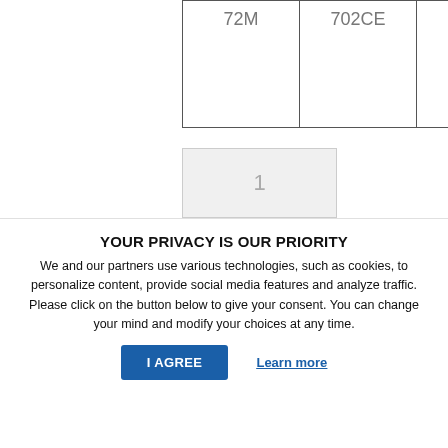| 72M | 702CE | SEM |
| --- | --- | --- |
|  |  |  |
1
Request Quote
YOUR PRIVACY IS OUR PRIORITY
We and our partners use various technologies, such as cookies, to personalize content, provide social media features and analyze traffic. Please click on the button below to give your consent. You can change your mind and modify your choices at any time.
I AGREE
Learn more